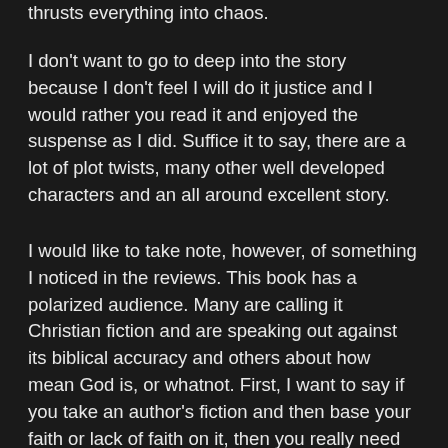thrusts everything into chaos.
I don't want to go to deep into the story because I don't feel I will do it justice and I would rather you read it and enjoyed the suspense as I did. Suffice it to say, there are a lot of plot twists, many other well developed characters and an all around excellent story.
I would like to take note, however, of something I noticed in the reviews. This book has a polarized audience. Many are calling it Christian fiction and are speaking out against its biblical accuracy and others about how mean God is, or whatnot. First, I want to say if you take an author's fiction and then base your faith or lack of faith on it, then you really need to quit reading fiction. Or join the church of scientology where you can be among other like minded folks. If you think this book is meant to be another "Left Behind" series then I feel you are missing the point. I think this book was meant to be a fictional suspense